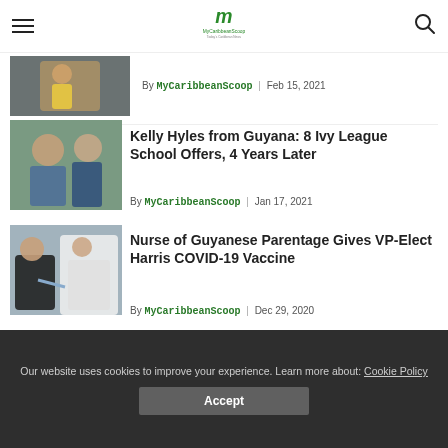MyCaribbean Scoop navigation header with logo, hamburger menu, and search icon
By MyCaribbeanScoop | Feb 15, 2021
Kelly Hyles from Guyana: 8 Ivy League School Offers, 4 Years Later
By MyCaribbeanScoop | Jan 17, 2021
Nurse of Guyanese Parentage Gives VP-Elect Harris COVID-19 Vaccine
By MyCaribbeanScoop | Dec 29, 2020
Our website uses cookies to improve your experience. Learn more about: Cookie Policy